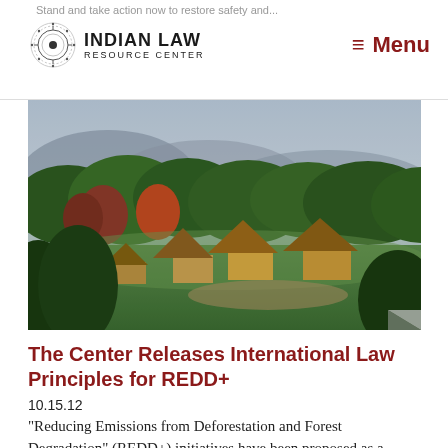Stand and take action now to restore safety and...
[Figure (logo): Indian Law Resource Center logo with circular emblem and organization name]
[Figure (photo): Aerial/landscape photo of an indigenous village with thatched-roof huts surrounded by green trees and hills at dusk]
The Center Releases International Law Principles for REDD+
10.15.12
“Reducing Emissions from Deforestation and Forest Degradation” (REDD+) initiatives have been proposed as a means of combating climate change, while at the same time providing development opportunities for developing countries.